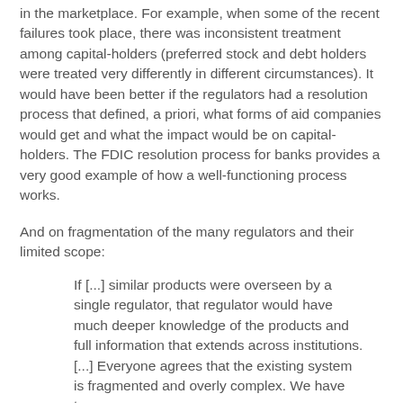in the marketplace. For example, when some of the recent failures took place, there was inconsistent treatment among capital-holders (preferred stock and debt holders were treated very differently in different circumstances). It would have been better if the regulators had a resolution process that defined, a priori, what forms of aid companies would get and what the impact would be on capital-holders. The FDIC resolution process for banks provides a very good example of how a well-functioning process works.
And on fragmentation of the many regulators and their limited scope:
If [...] similar products were overseen by a single regulator, that regulator would have much deeper knowledge of the products and full information that extends across institutions. [...] Everyone agrees that the existing system is fragmented and overly complex. We have too many